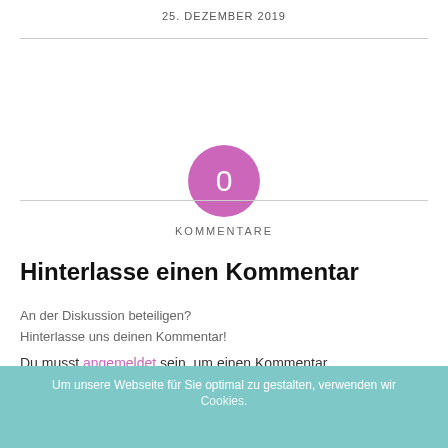25. DEZEMBER 2019
[Figure (infographic): Pink/magenta circle with the number 0 in white, labeled KOMMENTARE below]
Hinterlasse einen Kommentar
An der Diskussion beteiligen?
Hinterlasse uns deinen Kommentar!
Du musst angemeldet sein, um einen Kommentar abzugeben.
Um unsere Webseite für Sie optimal zu gestalten, verwenden wir Cookies.